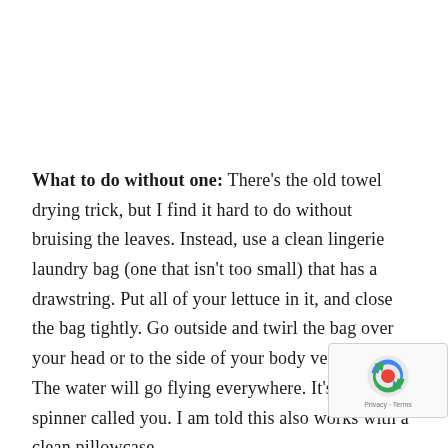What to do without one: There's the old towel drying trick, but I find it hard to do without bruising the leaves. Instead, use a clean lingerie laundry bag (one that isn't too small) that has a drawstring. Put all of your lettuce in it, and close the bag tightly. Go outside and twirl the bag over your head or to the side of your body very rapidly. The water will go flying everywhere. It's a salad spinner called you. I am told this also works with a clean pillowcase.